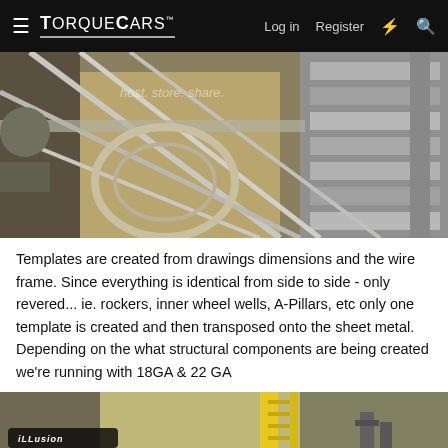TorqueCars | Log in | Register
[Figure (photo): Wire frame templates and steel bar structures in a fabrication workshop, showing metal tubing and structural components laid out on a workbench]
Templates are created from drawings dimensions and the wire frame. Since everything is identical from side to side - only revered... ie. rockers, inner wheel wells, A-Pillars, etc only one template is created and then transposed onto the sheet metal. Depending on the what structural components are being created we're running with 18GA & 22 GA
[Figure (photo): Bottom portion of a workshop photo showing a workbench or metal surface with a yellow ladder visible and an iLLusion logo badge at the bottom left]